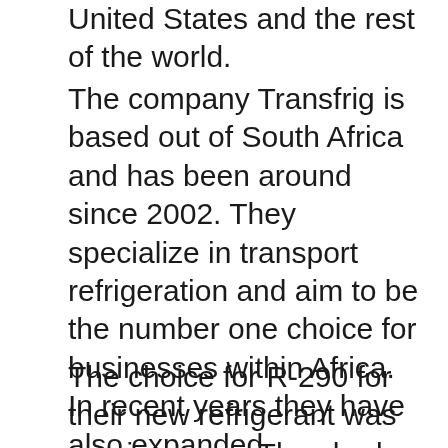United States and the rest of the world.
The company Transfrig is based out of South Africa and has been around since 2002. They specialize in transport refrigeration and aim to be the number one choice for businesses within Africa. In recent years they have also expanded internationally to countries including Hong Kong, China, the Middle East, Libya, Liberia, Australia and Nigeria. In 2018 Transfrig was acquired by the automotive research group out of Paris known as Valeo.
The choice for R-290 for their new refrigerant was a unique one. They had originally looked at using R-744 but after some further research they decided they wanted to stay with a subcritical system. The hydrocarbon